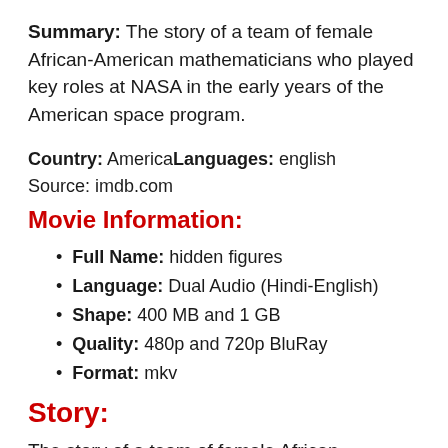Summary: The story of a team of female African-American mathematicians who played key roles at NASA in the early years of the American space program.
Country: AmericaLanguages: english
Source: imdb.com
Movie Information:
Full Name: hidden figures
Language: Dual Audio (Hindi-English)
Shape: 400 MB and 1 GB
Quality: 480p and 720p BluRay
Format: mkv
Story:
The story of a team of female African-